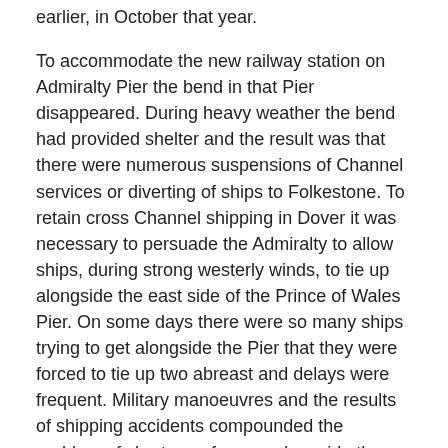earlier, in October that year.
To accommodate the new railway station on Admiralty Pier the bend in that Pier disappeared. During heavy weather the bend had provided shelter and the result was that there were numerous suspensions of Channel services or diverting of ships to Folkestone. To retain cross Channel shipping in Dover it was necessary to persuade the Admiralty to allow ships, during strong westerly winds, to tie up alongside the east side of the Prince of Wales Pier. On some days there were so many ships trying to get alongside the Pier that they were forced to tie up two abreast and delays were frequent. Military manoeuvres and the results of shipping accidents compounded the problem of shortage of space alongside the Pier at such times.